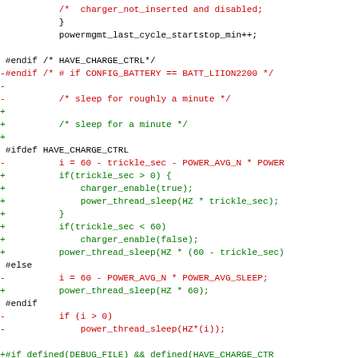[Figure (screenshot): A code diff view showing changes to C source code for power management, with red lines indicating removed code and green lines indicating added code, on a white background using monospace font.]